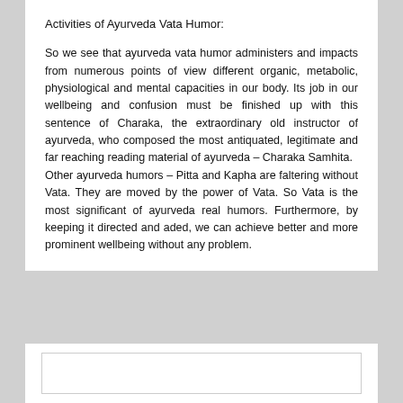Activities of Ayurveda Vata Humor:
So we see that ayurveda vata humor administers and impacts from numerous points of view different organic, metabolic, physiological and mental capacities in our body. Its job in our wellbeing and confusion must be finished up with this sentence of Charaka, the extraordinary old instructor of ayurveda, who composed the most antiquated, legitimate and far reaching reading material of ayurveda – Charaka Samhita.
Other ayurveda humors – Pitta and Kapha are faltering without Vata. They are moved by the power of Vata. So Vata is the most significant of ayurveda real humors. Furthermore, by keeping it directed and aded, we can achieve better and more prominent wellbeing without any problem.